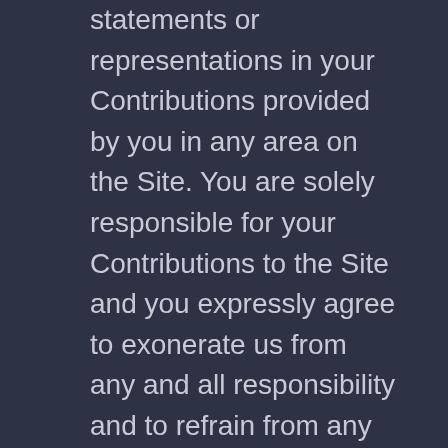statements or representations in your Contributions provided by you in any area on the Site. You are solely responsible for your Contributions to the Site and you expressly agree to exonerate us from any and all responsibility and to refrain from any legal action against us regarding your Contributions.
We have the right, in our sole and absolute discretion, (1) to edit, redact, or otherwise change any Contributions; (2) to re-categorize any Contributions to place them in more appropriate locations on the Site; and (3) to pre-screen or delete any